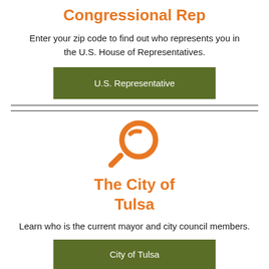Congressional Rep
Enter your zip code to find out who represents you in the U.S. House of Representatives.
[Figure (other): Green button labeled 'U.S. Representative']
[Figure (illustration): Orange magnifying glass icon]
The City of Tulsa
Learn who is the current mayor and city council members.
[Figure (other): Green button labeled 'City of Tulsa' (partially visible at bottom)]